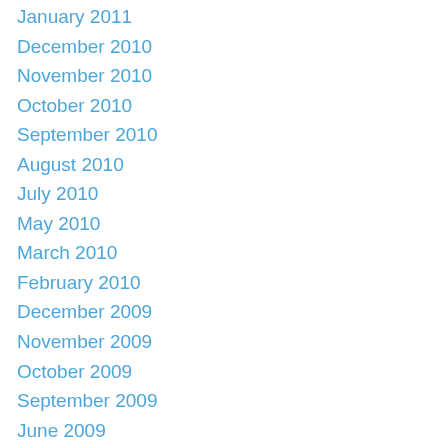January 2011
December 2010
November 2010
October 2010
September 2010
August 2010
July 2010
May 2010
March 2010
February 2010
December 2009
November 2009
October 2009
September 2009
June 2009
April 2009
March 2009
February 2009
December 2008
November 2008